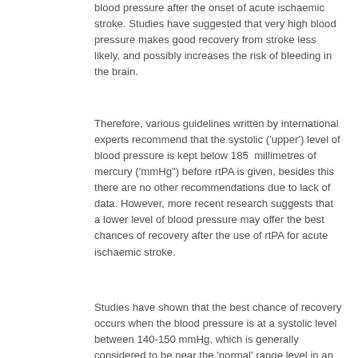blood pressure after the onset of acute ischaemic stroke. Studies have suggested that very high blood pressure makes good recovery from stroke less likely, and possibly increases the risk of bleeding in the brain.
Therefore, various guidelines written by international experts recommend that the systolic ('upper') level of blood pressure is kept below 185  millimetres of mercury ('mmHg") before rtPA is given, besides this there are no other recommendations due to lack of  data. However, more recent research suggests that a lower level of blood pressure may offer the best chances of recovery after the use of rtPA for acute ischaemic stroke.
Studies have shown that the best chance of recovery occurs when the blood pressure is at a systolic level between 140-150 mmHg, which is generally considered to be near the 'normal' range level in an otherwise healthy person, at the time of and for at least 24 hours after use of rtPA. The studies have also shown that a poor outcome from stroke also occurs when the blood pressure is very low, that is less than 130 mmHg.
Having high blood pressure after ischaemic stroke, and especially when rtPA is used, may increase the risk of bleeding in the brain because the blood vessels are damaged and the